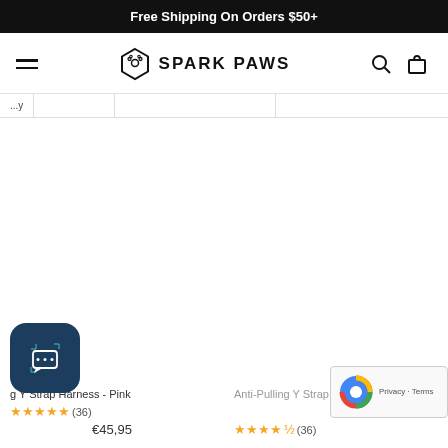Free Shipping On Orders $50+
[Figure (logo): Spark Paws logo with hexagonal paw icon and text SPARK PAWS]
g Y Strap Harness - Pink
★★★★★ (36)
€45,95
Anti-Pulling Y Strap Harne...
★★★★★ (36)